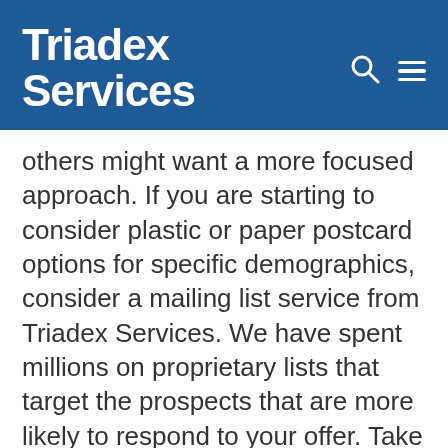Triadex Services
others might want a more focused approach. If you are starting to consider plastic or paper postcard options for specific demographics, consider a mailing list service from Triadex Services. We have spent millions on proprietary lists that target the prospects that are more likely to respond to your offer. Take a look at the options offered in our various lists below. Our plastic postcard and paper campaigns are especially versatile and can be used as multi-promotional mailers, gift cards, key tags, incentive cards, coupons, and more. Send out custom die-cut direct mail